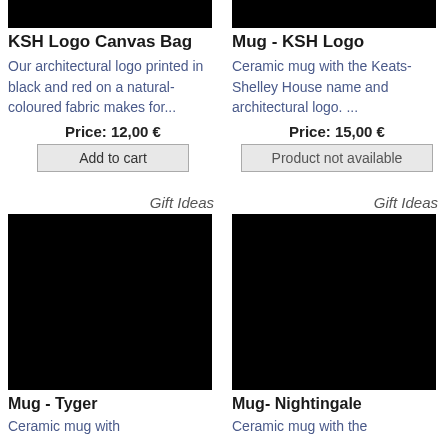[Figure (photo): Black product image of KSH Logo Canvas Bag (top cropped)]
KSH Logo Canvas Bag
Our architectural logo printed in black and red on a natural-coloured fabric makes for...
Price: 12,00 €
Add to cart
[Figure (photo): Black product image of Mug - KSH Logo (top cropped)]
Mug - KSH Logo
Ceramic mug with the Keats-Shelley House name and architectural logo. ...
Price: 15,00 €
Product not available
Gift Ideas
[Figure (photo): Black product image of Mug - Tyger]
Mug - Tyger
Ceramic mug with
Gift Ideas
[Figure (photo): Black product image of Mug- Nightingale]
Mug- Nightingale
Ceramic mug with the